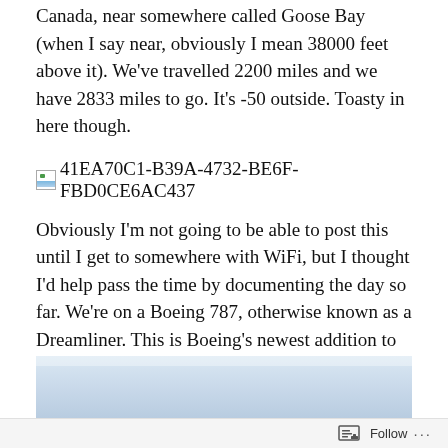Canada, near somewhere called Goose Bay (when I say near, obviously I mean 38000 feet above it). We've travelled 2200 miles and we have 2833 miles to go. It's -50 outside. Toasty in here though.
[Figure (other): Broken image placeholder with filename 41EA70C1-B39A-4732-BE6F-FBD0CE6AC437]
Obviously I'm not going to be able to post this until I get to somewhere with WiFi, but I thought I'd help pass the time by documenting the day so far. We're on a Boeing 787, otherwise known as a Dreamliner. This is Boeing's newest addition to their range, and, if I'm not wrong, was recently the first plane to fly non-stop to Australia from the UK.
[Figure (photo): Partial image visible at bottom of page, showing a light blue/grey gradient, likely a sky or interior photo]
Follow ...